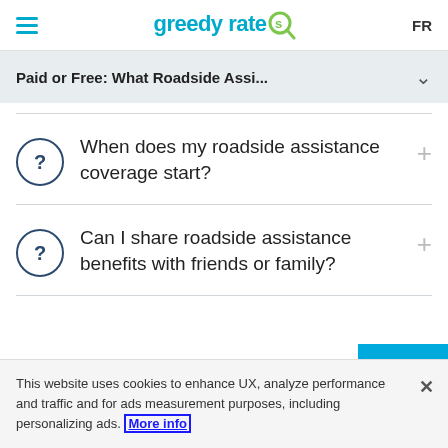greedyrates FR
Paid or Free: What Roadside Assi...
When does my roadside assistance coverage start?
Can I share roadside assistance benefits with friends or family?
This website uses cookies to enhance UX, analyze performance and traffic and for ads measurement purposes, including personalizing ads. More info